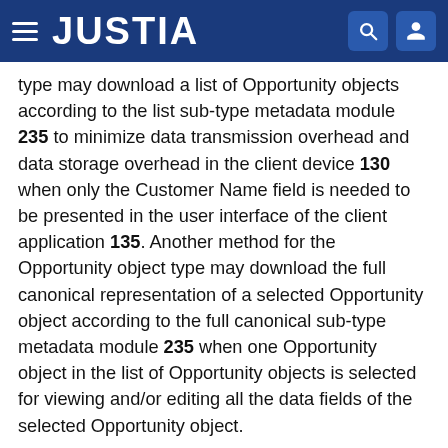JUSTIA
type may download a list of Opportunity objects according to the list sub-type metadata module 235 to minimize data transmission overhead and data storage overhead in the client device 130 when only the Customer Name field is needed to be presented in the user interface of the client application 135. Another method for the Opportunity object type may download the full canonical representation of a selected Opportunity object according to the full canonical sub-type metadata module 235 when one Opportunity object in the list of Opportunity objects is selected for viewing and/or editing all the data fields of the selected Opportunity object.
In an operation 440, the client application 135 may make a determination regarding whether a new object that is created according to the second object type definition 330 is configured to correspond according to the list...